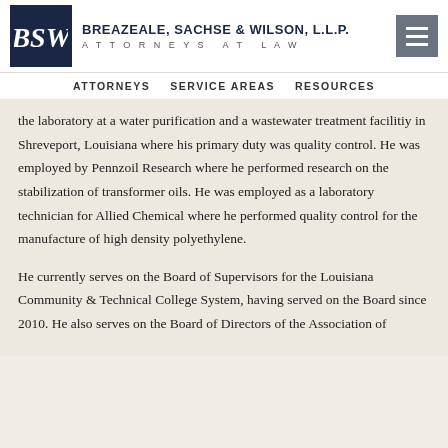BREAZEALE, SACHSE & WILSON, L.L.P. ATTORNEYS AT LAW
ATTORNEYS   SERVICE AREAS   RESOURCES
the laboratory at a water purification and a wastewater treatment facilitiy in Shreveport, Louisiana where his primary duty was quality control. He was employed by Pennzoil Research where he performed research on the stabilization of transformer oils. He was employed as a laboratory technician for Allied Chemical where he performed quality control for the manufacture of high density polyethylene.
He currently serves on the Board of Supervisors for the Louisiana Community & Technical College System, having served on the Board since 2010. He also serves on the Board of Directors of the Association of